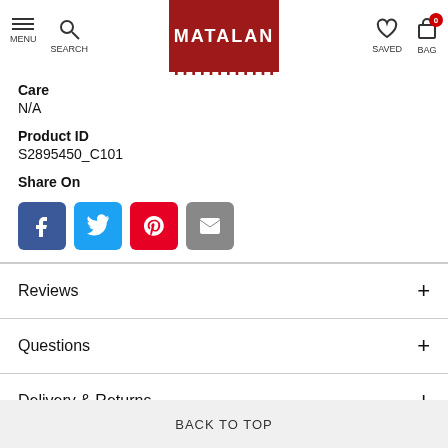MATALAN
Care
N/A
Product ID
S2895450_C101
Share On
[Figure (other): Social share buttons: Facebook (blue), Twitter (light blue), Pinterest (red), Email (grey)]
Reviews
Questions
Delivery & Returns
BACK TO TOP